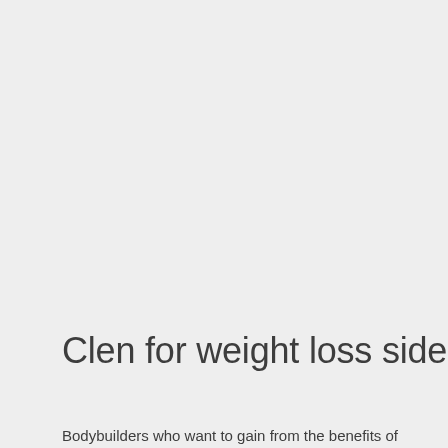Clen for weight loss side effects
Bodybuilders who want to gain from the benefits of clenbuterol often work with